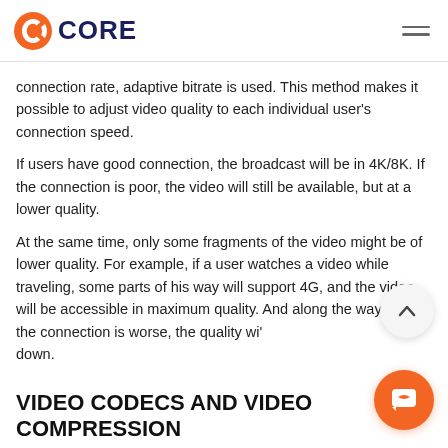CORE
connection rate, adaptive bitrate is used. This method makes it possible to adjust video quality to each individual user’s connection speed.
If users have good connection, the broadcast will be in 4K/8K. If the connection is poor, the video will still be available, but at a lower quality.
At the same time, only some fragments of the video might be of lower quality. For example, if a user watches a video while traveling, some parts of his way will support 4G, and the video will be accessible in maximum quality. And along the way where the connection is worse, the quality will go down.
VIDEO CODECS AND VIDEO COMPRESSION
High-quality video files are very large. If they were